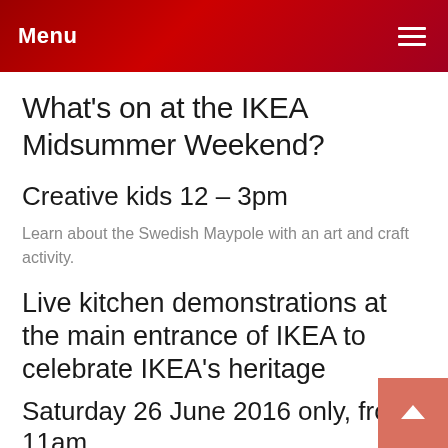Menu
What's on at the IKEA Midsummer Weekend?
Creative kids 12 – 3pm
Learn about the Swedish Maypole with an art and craft activity.
Live kitchen demonstrations at the main entrance of IKEA to celebrate IKEA's heritage
Saturday 26 June 2016 only, from 11am
Smörgåstårta (Swedish savoury sandwich cake)
Raggmunk (Potato pancake with bacon & lingonberry jam)